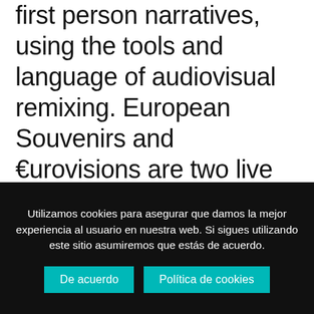first person narratives, using the tools and language of audiovisual remixing. European Souvenirs and €urovisions are two live cinema shows; the first uses the metaphor of tourist souvenirs to reflect on memory and travel as relates to migration, and the second
Utilizamos cookies para asegurar que damos la mejor experiencia al usuario en nuestra web. Si sigues utilizando este sitio asumiremos que estás de acuerdo.
De acuerdo
Política de cookies